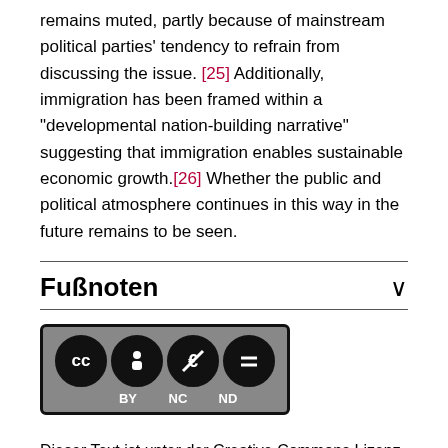remains muted, partly because of mainstream political parties' tendency to refrain from discussing the issue. [25] Additionally, immigration has been framed within a "developmental nation-building narrative" suggesting that immigration enables sustainable economic growth.[26] Whether the public and political atmosphere continues in this way in the future remains to be seen.
Fußnoten
[Figure (logo): Creative Commons CC BY-NC-ND license badge with four circular icons: CC, person (BY), euro with slash (NC), equals sign (ND)]
Dieser Text ist unter der Creative Commons Lizenz "CC BY-NC-ND 3.0 DE - Namensnennung - Nicht-